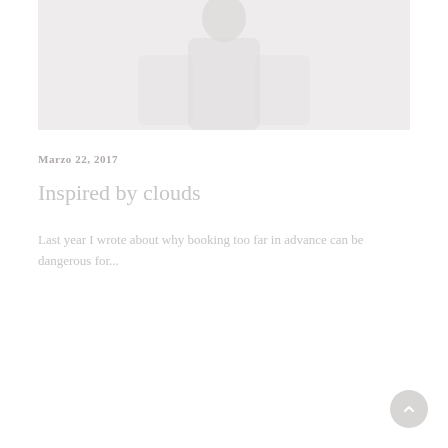[Figure (photo): Faded/faint photo of a person, mostly white and light gray tones, partial silhouette visible at top of page]
Marzo 22, 2017
Inspired by clouds
Last year I wrote about why booking too far in advance can be dangerous for...